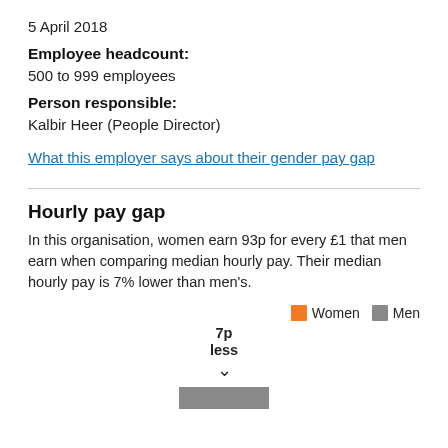5 April 2018
Employee headcount:
500 to 999 employees
Person responsible:
Kalbir Heer (People Director)
What this employer says about their gender pay gap
Hourly pay gap
In this organisation, women earn 93p for every £1 that men earn when comparing median hourly pay. Their median hourly pay is 7% lower than men's.
[Figure (bar-chart): Bar chart showing women earn 7p less per £1 than men. Label shows '7p less' with a downward arrow above a partial grey bar.]